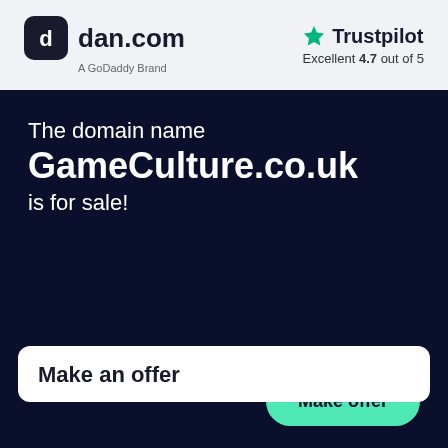[Figure (logo): dan.com logo — dark rounded square icon with stylized 'c' letter, followed by 'dan.com' in bold dark text, with 'A GoDaddy Brand' subtitle]
[Figure (logo): Trustpilot logo — green star icon followed by 'Trustpilot' text, with 'Excellent 4.7 out of 5' rating below]
The domain name
GameCulture.co.uk
is for sale!
Make an offer
Make offer